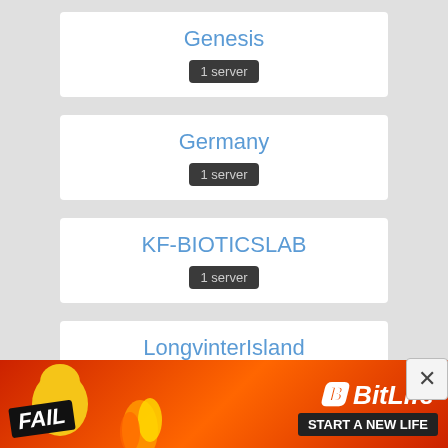Genesis
1 server
Germany
1 server
KF-BIOTICSLAB
1 server
LongvinterIsland
1 server
LostIsland
[Figure (infographic): Advertisement banner for BitLife mobile game with FAIL text and 'START A NEW LIFE' slogan]